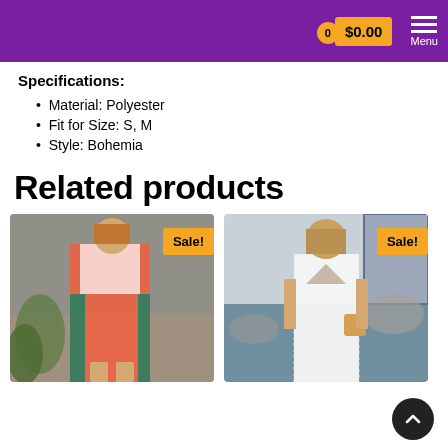0  $0.00  Menu
Specifications:
Material: Polyester
Fit for Size: S, M
Style: Bohemia
Related products
[Figure (photo): Woman wearing a colorful red/pink kimono-style cover-up with a Sale! badge]
[Figure (photo): Woman wearing a white lace mini dress/romper with a Sale! badge]